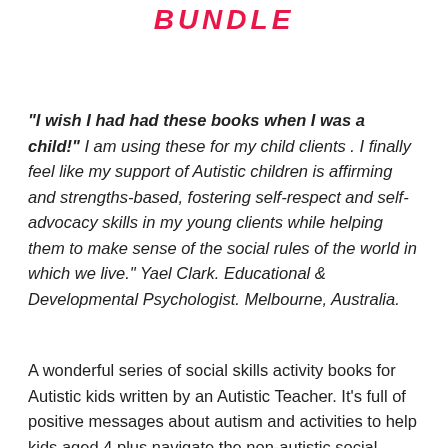BUNDLE
"I wish I had had these books when I was a child!" I am using these for my child clients . I finally feel like my support of Autistic children is affirming and strengths-based, fostering self-respect and self-advocacy skills in my young clients while helping them to make sense of the social rules of the world in which we live." Yael Clark. Educational & Developmental Psychologist. Melbourne, Australia.
A wonderful series of social skills activity books for Autistic kids written by an Autistic Teacher. It’s full of positive messages about autism and activities to help kids aged 4 plus navigate the non-autistic social